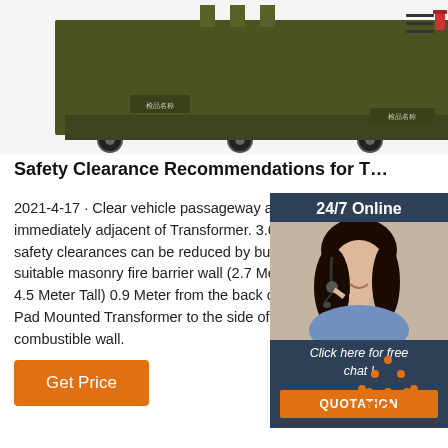[Figure (photo): Green military/industrial transformer on wheels, partially cropped at top of page]
Safety Clearance Recommendations for T…
2021-4-17 · Clear vehicle passageway at a… immediately adjacent of Transformer. 3.6… safety clearances can be reduced by build… suitable masonry fire barrier wall (2.7 Met… 4.5 Meter Tall) 0.9 Meter from the back o… Pad Mounted Transformer to the side of t… combustible wall.
[Figure (photo): 24/7 Online chat widget: woman with headset on dark blue background with 'Click here for free chat!' and orange QUOTATION button]
Get Price
[Figure (other): Orange dotted triangle 'TOP' back-to-top button icon]